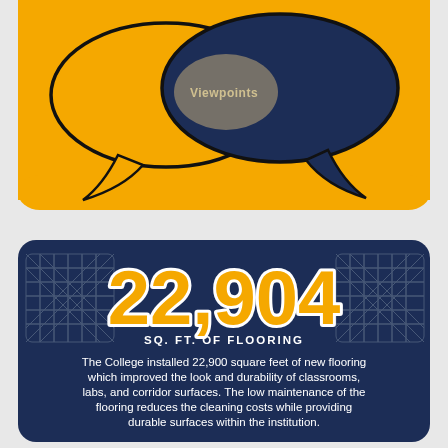[Figure (illustration): Orange rounded rectangle background with two overlapping speech bubbles — one orange with black outline and one dark navy with black outline — partially visible at top. The word 'Viewpoints' appears in the overlap area.]
[Figure (infographic): Dark navy rounded rectangle panel showing '22,904' in large bold orange text with white stroke, subtitle 'SQ. FT. OF FLOORING' in white caps, decorative grey woven knot patterns on left and right sides, and descriptive white text below.]
The College installed 22,900 square feet of new flooring which improved the look and durability of classrooms, labs, and corridor surfaces.  The low maintenance of the flooring reduces the cleaning costs while providing durable surfaces within the institution.